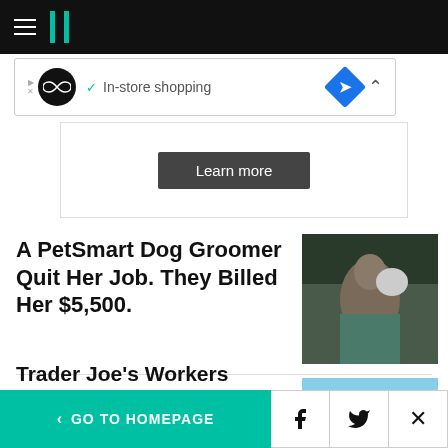HuffPost navigation bar with hamburger menu and logo
[Figure (screenshot): Advertisement banner showing in-store shopping with infinity loop icon and blue diamond arrow icon]
[Figure (screenshot): Learn more button in ad content area]
A PetSmart Dog Groomer Quit Her Job. They Billed Her $5,500.
[Figure (photo): Photo of a woman holding a dog outdoors]
Trader Joe's Workers
[Figure (photo): Photo of Trader Joe's store exterior sign]
< GO TO HOMEPAGE